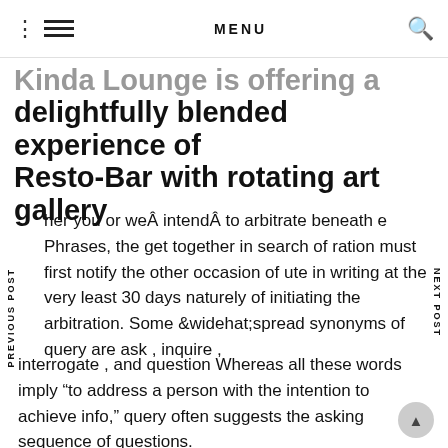MENU
Kinda Lounge is offering a delightfully blended experience of Resto-Bar with rotating art gallery
her you or weÂ intendÂ to arbitrate beneath e Phrases, the get together in search of ration must first notify the other occasion of ute in writing at the very least 30 days naturely of initiating the arbitration. Some spread synonyms of query are ask , inquire , interrogate , and question Whereas all these words imply “to address a person with the intention to achieve info,” query often suggests the asking sequence of questions.